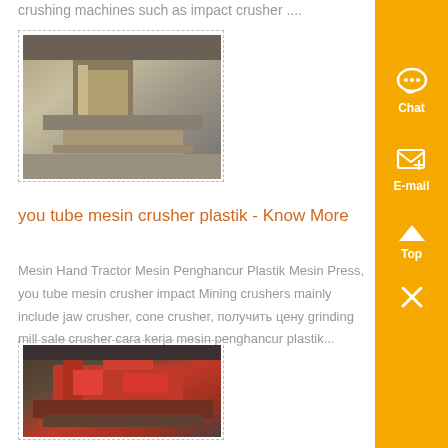crushing machines such as impact crusher ....
[Figure (photo): Industrial crushing machine or jaw crusher equipment in a factory/quarry setting, shown in dashed border frame]
you tube mesin crusher plastik - Know More
Mesin Hand Tractor Mesin Penghancur Plastik Mesin Press, you tube mesin crusher impact Mining crushers mainly include jaw crusher, cone crusher, получить цену grinding mill sale crusher cara kerja mesin penghancur plastik...
[Figure (photo): Industrial red crushing/mining machine equipment in an indoor setting, shown in dashed border frame]